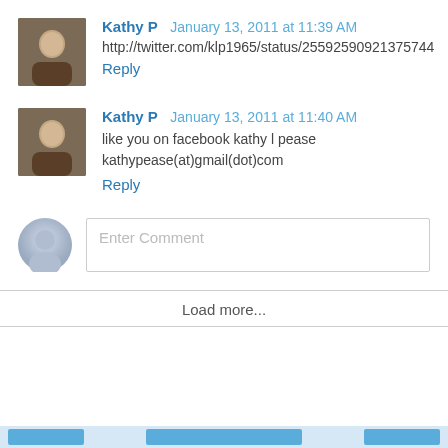Kathy P  January 13, 2011 at 11:39 AM
http://twitter.com/klp1965/status/25592590921375744
Reply
Kathy P  January 13, 2011 at 11:40 AM
like you on facebook kathy l pease kathypease(at)gmail(dot)com
Reply
Enter Comment
Load more...